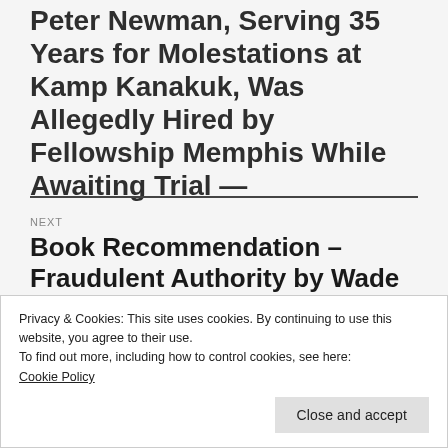Peter Newman, Serving 35 Years for Molestations at Kamp Kanakuk, Was Allegedly Hired by Fellowship Memphis While Awaiting Trial —
NEXT
Book Recommendation – Fraudulent Authority by Wade
Privacy & Cookies: This site uses cookies. By continuing to use this website, you agree to their use.
To find out more, including how to control cookies, see here:
Cookie Policy
Close and accept